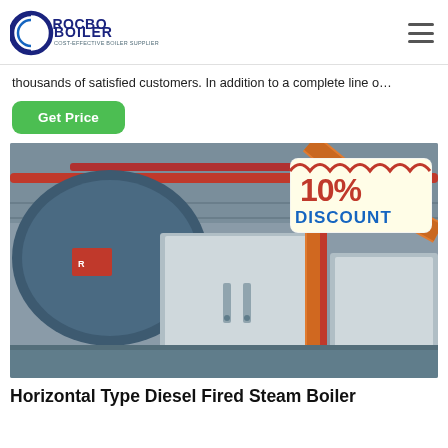ROCBO BOILER — COST-EFFECTIVE BOILER SUPPLIER
thousands of satisfied customers. In addition to a complete line o…
Get Price
[Figure (photo): Industrial boiler room with horizontal type diesel fired steam boilers in stainless steel casing. A red banner with '10% DISCOUNT' is overlaid in the upper right corner. Multiple cylindrical boilers, orange and red piping visible in background.]
Horizontal Type Diesel Fired Steam Boiler